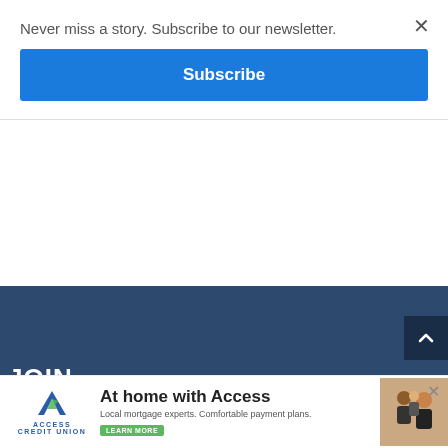Never miss a story. Subscribe to our newsletter.
Subscribe
×
[Figure (screenshot): Dark blue footer area of a website]
JOIN
[Figure (screenshot): Access Credit Union advertisement banner: 'At home with Access' with logo, tagline 'Local mortgage experts. Comfortable payment plans.' and a family photo]
×